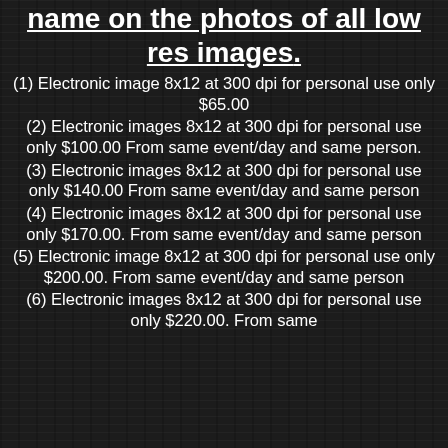name on the photos of all low res images.
(1) Electronic image 8x12 at 300 dpi for personal use only $65.00
(2) Electronic images 8x12 at 300 dpi for personal use only $100.00 From same event/day and same person.
(3) Electronic images 8x12 at 300 dpi for personal use only $140.00 From same event/day and same person
(4) Electronic images 8x12 at 300 dpi for personal use only $170.00. From same event/day and same person
(5) Electronic image 8x12 at 300 dpi for personal use only $200.00. From same event/day and same person
(6) Electronic images 8x12 at 300 dpi for personal use only $220.00. From same